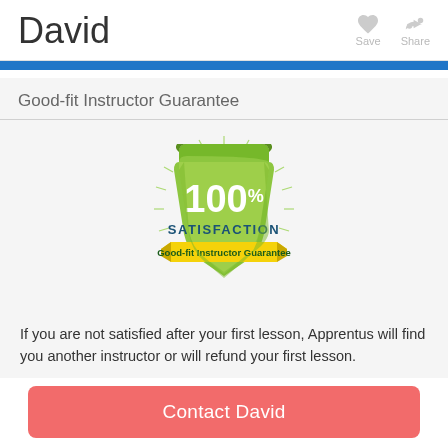David
[Figure (illustration): 100% Satisfaction Good-fit Instructor Guarantee badge — a green shield with sun-ray lines, '100%' and 'SATISFACTION' in white text, and a yellow banner reading 'Good-fit Instructor Guarantee']
Good-fit Instructor Guarantee
If you are not satisfied after your first lesson, Apprentus will find you another instructor or will refund your first lesson.
Contact David